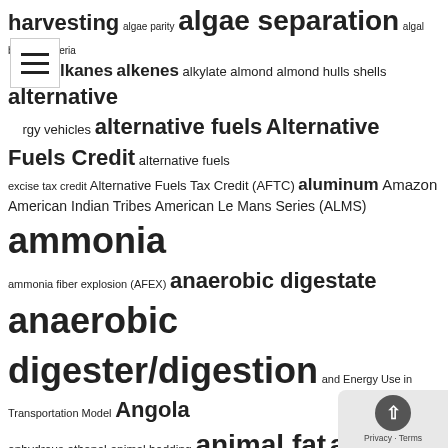harvesting algae parity algae separation algal biofuels Algeria Algeria alkanes alkenes alkylate almond almond hulls shells alternative alternative energy vehicles alternative fuels Alternative Fuels Credit alternative fuels excise tax credit Alternative Fuels Tax Credit (AFTC) aluminum Amazon American Indian Tribes American Le Mans Series (ALMS) ammonia ammonia fiber explosion (AFEX) anaerobic digestate anaerobic digester/digestion and Energy Use in Transportation Model Angola anhydrous ethanol animal bedding animal fat animal feed animal waste Antactica Antarctica antibiotics antitrust Appropriations APR (Aqueous Phase Reforming) aquaculture aquatic organisms Arabidopsis arabinose ARCA Archaea Architecture Arctic Argentian Argentina Arizona Arkansas Armenia Army Corps of Engineers aromatics aromatics price ARPA-C ARPA-E ARPA-Terra arrandi artificial intelligence Aruba Asia asphalt/bitumen ASTM ASTM 6866 ASTM D396 ASTM D975 ASTM D1655 ASTM D2880 ASTM D4054 ASTM D4806 Denatured fuel ethanol ASTM D4814 ASTM D5798 ASTM D6751 ASTM D7467 (B6-B20) ASTM D7544 ASTM D7566 (Standard Specification for Aviation Turbine Fuel Containing Synthesized Hydrocarbons) ASTM D7862 ASTM D7901 (Dimethyl Ether for Fuel Purposes) ASTM D8076 ASTM D8181 ASTM standards ASTM WK55232 (D02) ASTM WK63392 ATJ-S (Alcohol to Jet Synthetic Paraffinic Kerosene) Atlantic Canada
[Figure (other): Hamburger menu icon (three horizontal lines) in a white box with border, positioned top left]
[Figure (other): Privacy badge overlay at bottom right with shield/arrow icon and Privacy · Terms text]